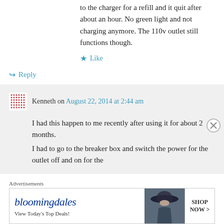to the charger for a refill and it quit after about an hour. No green light and not charging anymore. The 110v outlet still functions though.
★ Like
↳ Reply
Kenneth on August 22, 2014 at 2:44 am
I had this happen to me recently after using it for about 2 months. I had to go to the breaker box and switch the power for the outlet off and on for the
Advertisements
[Figure (other): Bloomingdale's advertisement banner with logo, 'View Today's Top Deals!' text, image of woman with hat, and 'SHOP NOW >' button]